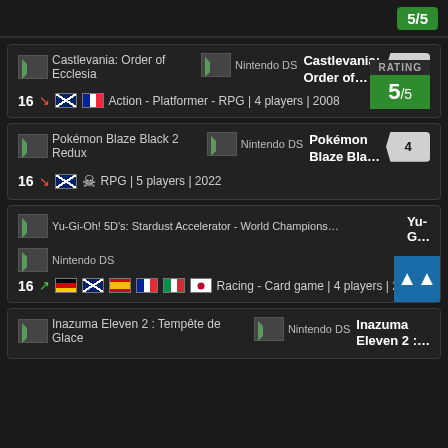5/5 (rating badge, top strip)
Castlevania: Order of Ecclesia | Nintendo DS | Rank: 1 | Age: 16 | Action - Platformer - RPG | 4 players | 2008 | Rating: 5/5
Pokémon Blaze Black 2 Redux | Nintendo DS | Rank: 4 | Age: 16 | RPG | 5 players | 2022
Yu-Gi-Oh! 5D's: Stardust Accelerator - World Championship 2009 | Nintendo DS | Age: 16 | Racing - Card game | 4 players | 2009
Inazuma Eleven 2 : Tempête de Glace | Nintendo DS | Inazuma Eleven 2 :...